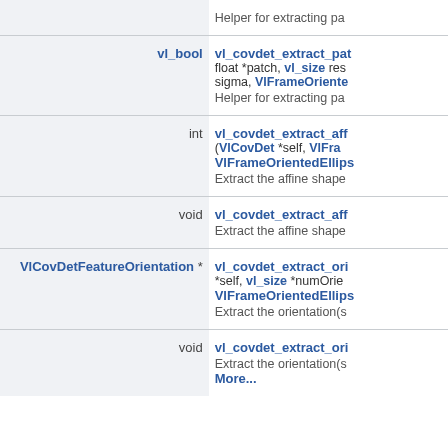| Return type | Function signature |
| --- | --- |
|  | Helper for extracting pa |
| vl_bool | vl_covdet_extract_pat
float *patch, vl_size res
sigma, VlFrameOriente
Helper for extracting pa |
| int | vl_covdet_extract_aff
(VlCovDet *self, VlFra
VlFrameOrientedEllips
Extract the affine shape |
| void | vl_covdet_extract_aff
Extract the affine shape |
| VlCovDetFeatureOrientation * | vl_covdet_extract_ori
*self, vl_size *numOrie
VlFrameOrientedEllips
Extract the orientation(s |
| void | vl_covdet_extract_ori
Extract the orientation(s
More... |